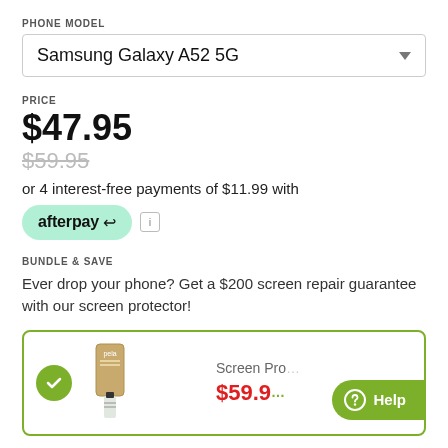PHONE MODEL
Samsung Galaxy A52 5G
PRICE
$47.95
$59.95
or 4 interest-free payments of $11.99 with
[Figure (logo): Afterpay logo badge in mint/green rounded pill shape]
BUNDLE & SAVE
Ever drop your phone? Get a $200 screen repair guarantee with our screen protector!
[Figure (photo): Pela screen protector product in kraft tube packaging with small bottle, inside a green-bordered bundle card. Shows checkmark circle, Screen Pro label, and $59.95 price in red. Help button overlaid at bottom right.]